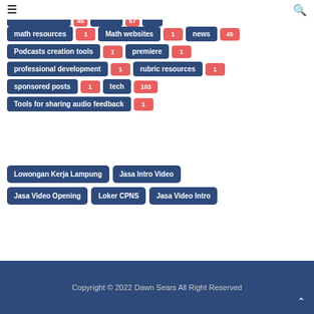☰  🔍
math resources 1
Math websites 1
news 45
Podcasts creation tools 1
premiere 1
professional development 1
rubric resources 1
sponsored posts 1
tech 103
Tools for sharing audio feedback 1
Lowongan Kerja Lampung
Jasa Intro Video
Jasa Video Opening
Loker CPNS
Jasa Video Intro
Copyright © 2022 Dawn Sears All Right Reserved